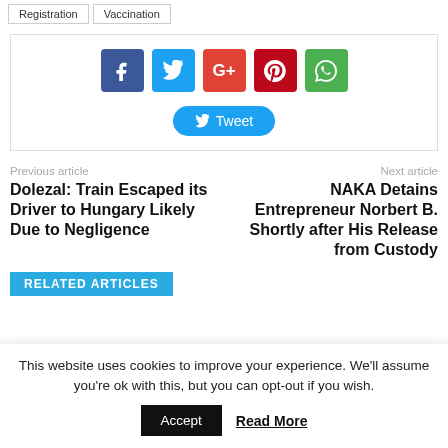Registration  Vaccination
[Figure (other): Social sharing buttons: Facebook (f), Twitter (bird), Google+ (G+), Pinterest (P), WhatsApp (chat bubble), and a Tweet button]
Previous article
Dolezal: Train Escaped its Driver to Hungary Likely Due to Negligence
Next article
NAKA Detains Entrepreneur Norbert B. Shortly after His Release from Custody
RELATED ARTICLES
This website uses cookies to improve your experience. We'll assume you're ok with this, but you can opt-out if you wish.
Accept  Read More